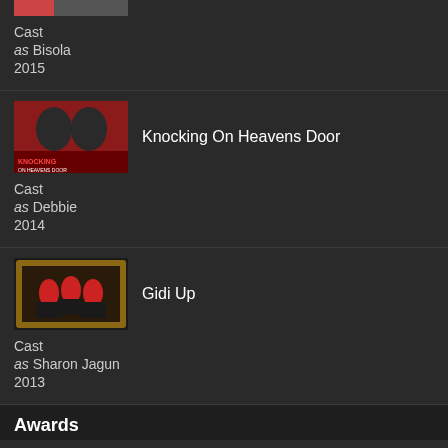[Figure (photo): Partial movie thumbnail at top]
Cast
as Bisola
2015
[Figure (photo): Knocking On Heavens Door movie poster thumbnail]
Knocking On Heavens Door
Cast
as Debbie
2014
[Figure (photo): Gidi Up movie poster thumbnail]
Gidi Up
Cast
as Sharon Jagun
2013
Awards